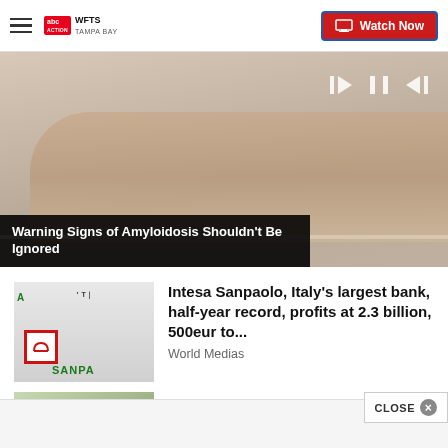WFTS TAMPA BAY — Watch Now
[Figure (screenshot): Video player showing a skin/medical image with playback controls and progress bar]
Warning Signs of Amyloidosis Shouldn't Be Ignored
[Figure (photo): Intesa Sanpaolo bank building exterior with red logo sign and green lettering]
Intesa Sanpaolo, Italy's largest bank, half-year record, profits at 2.3 billion, 500eur to...
World Medias
[Figure (photo): Outdoor scene with trees, Camp Lejeune related image]
Camp Lejeune Families (195...